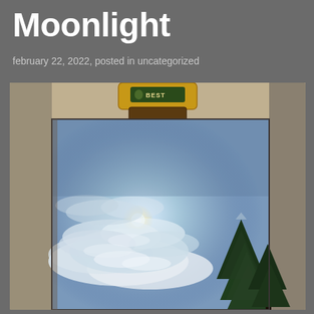Moonlight
february 22, 2022, posted in uncategorized
[Figure (photo): A painting on an easel showing a moonlit sky scene with glowing moon, dramatic clouds, and evergreen pine trees on the right side. The painting is held by a wooden easel clamp labeled 'BEST'. The canvas shows a blue-grey sky illuminated by moonlight shining through textured white clouds, with dark green conifers on the right.]